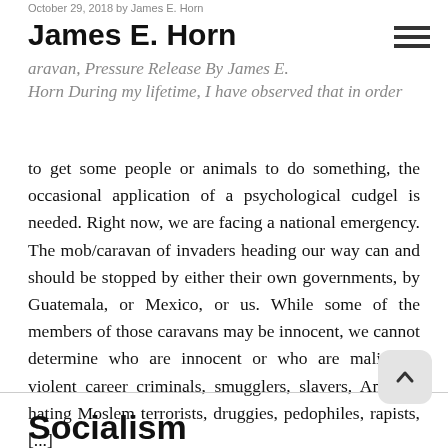October 29, 2018 by James E. Horn
James E. Horn
aravan, Pressure Release By James E. Horn During my lifetime, I have observed that in order
to get some people or animals to do something, the occasional application of a psychological cudgel is needed. Right now, we are facing a national emergency. The mob/caravan of invaders heading our way can and should be stopped by either their own governments, by Guatemala, or Mexico, or us. While some of the members of those caravans may be innocent, we cannot determine who are innocent or who are malignant violent career criminals, smugglers, slavers, America hating Moslem terrorists, druggies, pedophiles, rapists, [...]
Socialism